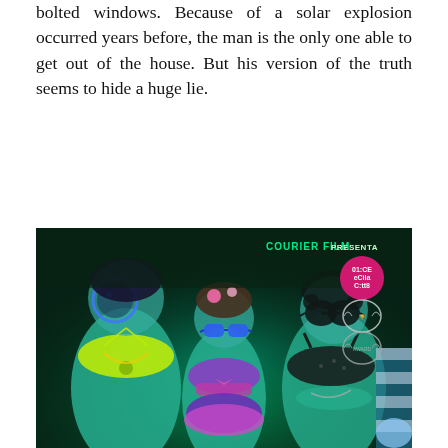bolted windows. Because of a solar explosion occurred years before, the man is the only one able to get out of the house. But his version of the truth seems to hide a huge lie.
[Figure (photo): Movie poster for 'COURIER FILM PRESENTA' showing three females in colorful swimwear/sunglasses under green-blue neon lighting, lying down. Pink circular badge with text 'ALICE eCila C:tt8' and two laurel wreath award badges visible in upper right.]